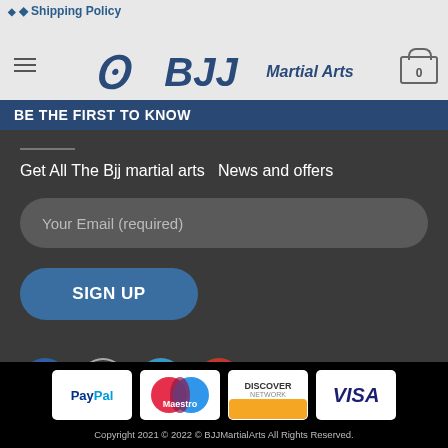Shipping Policy | BJJ Martial Arts | BE THE FIRST TO KNOW
Get All The Bjj martial arts  News and offers
Your Email (required)
SIGN UP
[Figure (infographic): Social media icons: Facebook, Instagram, Twitter, Pinterest]
[Figure (infographic): Payment method icons: PayPal, Maestro, Discover Network, VISA]
Copyright 2021 © 2022 © BJJMartialArts All Rights Reserved.